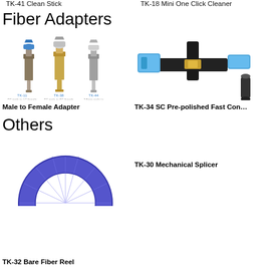TK-41 Clean Stick
TK-18 Mini One Click Cleaner
Fiber Adapters
[Figure (photo): Three fiber male-to-female adapters (FC male to LC female, FC male to SC female, 2.5mm male to 1.25mm female) shown side by side with labels beneath each.]
[Figure (photo): TK-34 SC Pre-polished Fast Connector - blue and black mechanical connector tool shown assembled and with cap removed.]
Male to Female Adapter
TK-34 SC Pre-polished Fast Con…
Others
[Figure (photo): TK-32 Bare Fiber Reel - a blue semicircular fiber reel shown from above.]
TK-30 Mechanical Splicer
TK-32 Bare Fiber Reel